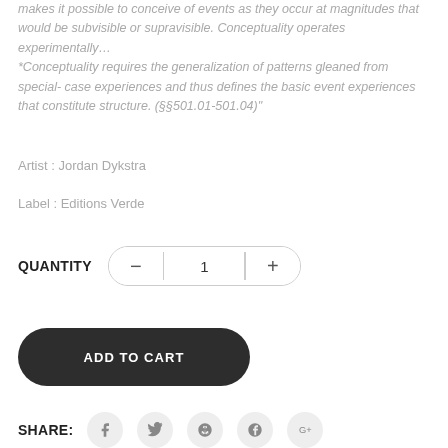makes it possible to conceive of events as they occur at magnitudes that would be subvisible or supravisible. Conceptuality operates experimentally… *Conceptuality requires the generalization of patterns gleaned from special- case experiences and thus defines the basic event experiences that constitute structure. (§§501.01-501.04)"
Artist : Jordan Dykstra
Label : Editions Verde
QUANTITY  —  1  +
ADD TO CART
SHARE: